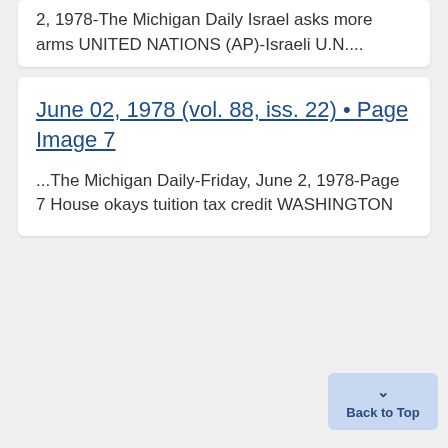2, 1978-The Michigan Daily Israel asks more arms UNITED NATIONS (AP)-Israeli U.N....
June 02, 1978 (vol. 88, iss. 22) • Page Image 7
...The Michigan Daily-Friday, June 2, 1978-Page 7 House okays tuition tax credit WASHINGTON